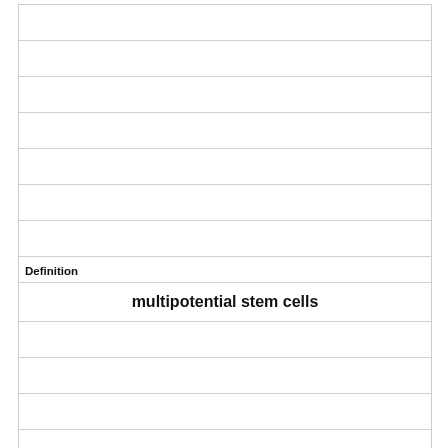|  |
|  |
|  |
|  |
| Definition |
| multipotential stem cells |
|  |
|  |
|  |
|  |
|  |
|  |
|  |
| (shaded) |
| Term |
| Multipotential stem cells differentiate into five different ___________________. |